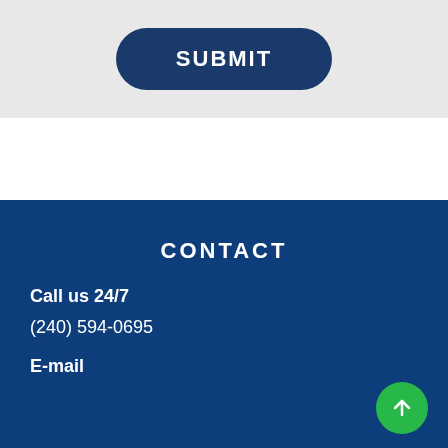SUBMIT
CONTACT
Call us 24/7
(240) 594-0695
E-mail